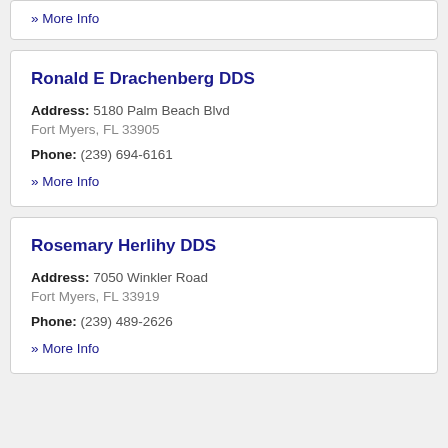» More Info
Ronald E Drachenberg DDS
Address: 5180 Palm Beach Blvd
Fort Myers, FL 33905
Phone: (239) 694-6161
» More Info
Rosemary Herlihy DDS
Address: 7050 Winkler Road
Fort Myers, FL 33919
Phone: (239) 489-2626
» More Info